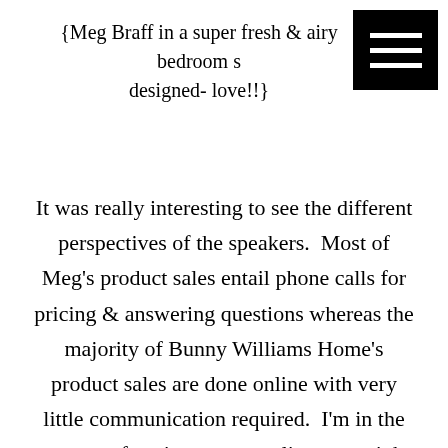{Meg Braff in a super fresh & airy bedroom s designed- love!!}
It was really interesting to see the different perspectives of the speakers.  Most of Meg's product sales entail phone calls for pricing & answering questions whereas the majority of Bunny Williams Home's product sales are done online with very little communication required.  I'm in the process of setting up our online store right now so I was glad to hear about how well it's working for them.